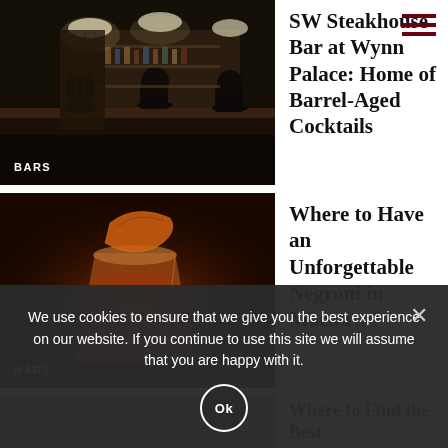[Figure (photo): Dark bar interior with people seated at a bar counter, shelves of bottles behind]
BARS
SW Steakhouse Bar at Wynn Palace: Home of Barrel-Aged Cocktails
[Figure (photo): Close-up of a cocktail in a crystal glass with a large ice cube and a burnt orange peel garnish, branded with 'BP' monogram]
BARS
Where to Have an Unforgettable Negroni in Macau
[Figure (photo): Partial photo of a third article, appears to show a bar or cocktail scene]
Where to Find the Best
We use cookies to ensure that we give you the best experience on our website. If you continue to use this site we will assume that you are happy with it.